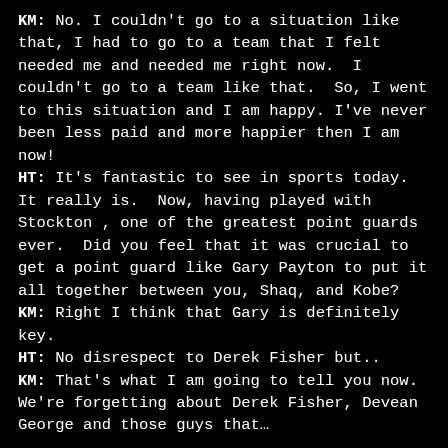KM: No. I couldn't go to a situation like that, I had to go to a team that I felt needed me and needed me right now. I couldn't go to a team like that. So, I went to this situation and I am happy. I've never been less paid and more happier then I am now! HT: It's fantastic to see in sports today. It really is. Now, having played with Stockton , one of the greatest point guards ever. Did you feel that it was crucial to get a point guard like Gary Payton to put it all together between you, Shaq, and Kobe? KM: Right I think that Gary is definitely key. HT: No disrespect to Derek Fisher but.. KM: That's what I am going to tell you now. We're forgetting about Derek Fisher, Devean George and those guys that...